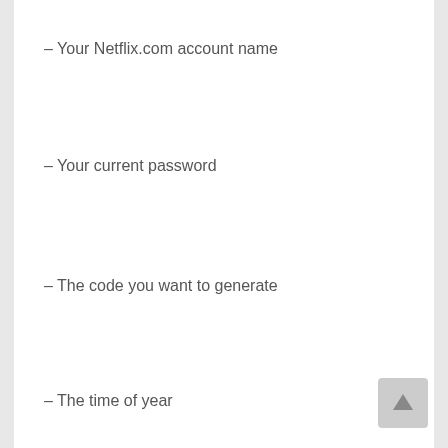– Your Netflix.com account name
– Your current password
– The code you want to generate
– The time of year